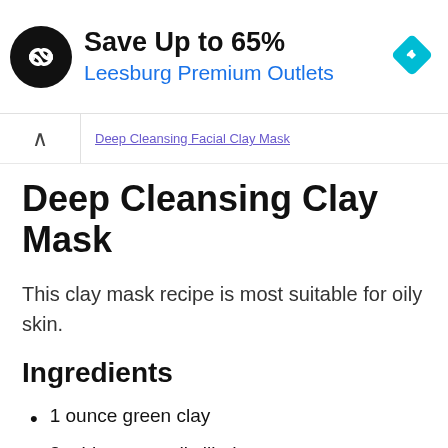[Figure (logo): Advertisement banner: black circle logo with infinity-like symbol, 'Save Up to 65%' in bold black text, 'Leesburg Premium Outlets' in blue text, blue diamond navigation icon on right]
Deep Cleansing Clay Mask
This clay mask recipe is most suitable for oily skin.
Ingredients
1 ounce green clay
3 tablespoons distilled water
1 t...